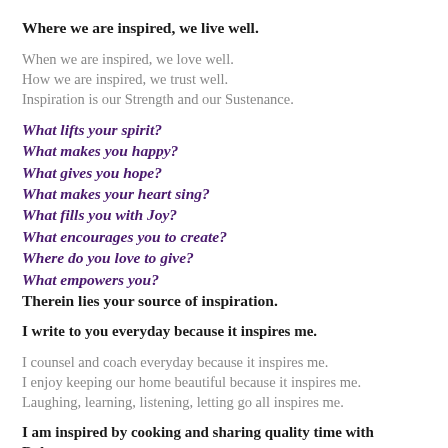Where we are inspired, we live well.
When we are inspired, we love well.
How we are inspired, we trust well.
Inspiration is our Strength and our Sustenance.
What lifts your spirit?
What makes you happy?
What gives you hope?
What makes your heart sing?
What fills you with Joy?
What encourages you to create?
Where do you love to give?
What empowers you?
Therein lies your source of inspiration.
I write to you everyday because it inspires me.
I counsel and coach everyday because it inspires me.
I enjoy keeping our home beautiful because it inspires me.
Laughing, learning, listening, letting go all inspires me.
I am inspired by cooking and sharing quality time with Robert.
I am inspired as I watch the lake and mountains from my desk.
I am inspired by the folks I know who love and give to others.
I am inspired by the amazing talents and creative expressions I see in humanity.